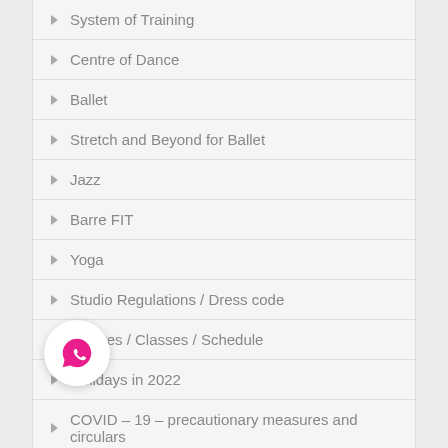System of Training
Centre of Dance
Ballet
Stretch and Beyond for Ballet
Jazz
Barre FIT
Yoga
Studio Regulations / Dress code
Centres / Classes / Schedule
Holidays in 2022
COVID – 19 – precautionary measures and circulars